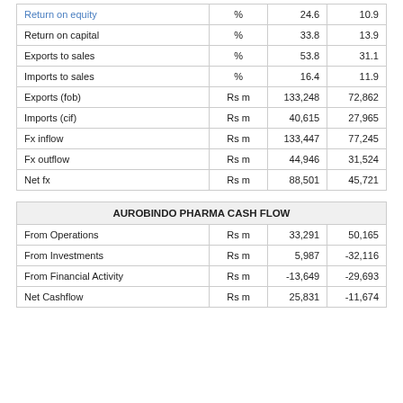|  |  |  |  |
| --- | --- | --- | --- |
| Return on equity | % | 24.6 | 10.9 |
| Return on capital | % | 33.8 | 13.9 |
| Exports to sales | % | 53.8 | 31.1 |
| Imports to sales | % | 16.4 | 11.9 |
| Exports (fob) | Rs m | 133,248 | 72,862 |
| Imports (cif) | Rs m | 40,615 | 27,965 |
| Fx inflow | Rs m | 133,447 | 77,245 |
| Fx outflow | Rs m | 44,946 | 31,524 |
| Net fx | Rs m | 88,501 | 45,721 |
| AUROBINDO PHARMA CASH FLOW |  |  |  |
| --- | --- | --- | --- |
| From Operations | Rs m | 33,291 | 50,165 |
| From Investments | Rs m | 5,987 | -32,116 |
| From Financial Activity | Rs m | -13,649 | -29,693 |
| Net Cashflow | Rs m | 25,831 | -11,674 |